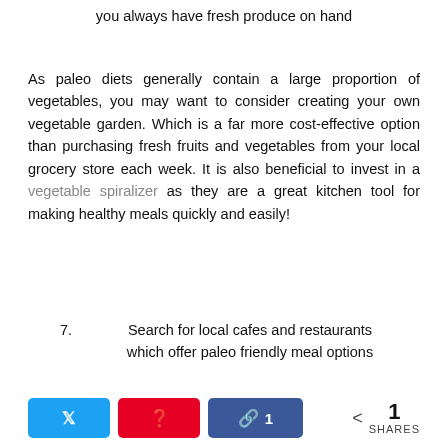you always have fresh produce on hand
As paleo diets generally contain a large proportion of vegetables, you may want to consider creating your own vegetable garden. Which is a far more cost-effective option than purchasing fresh fruits and vegetables from your local grocery store each week. It is also beneficial to invest in a vegetable spiralizer as they are a great kitchen tool for making healthy meals quickly and easily!
7. Search for local cafes and restaurants which offer paleo friendly meal options
1 SHARES